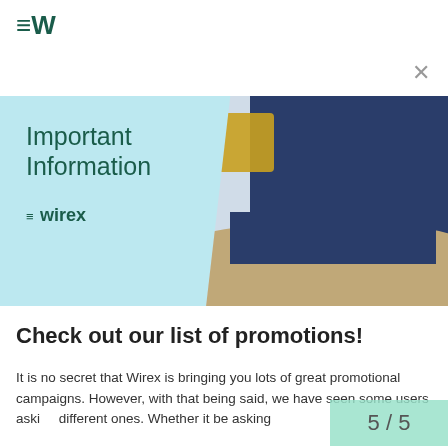Wirex logo (≡W)
[Figure (illustration): Wirex Important Information banner: light blue background on left with text 'Important Information' and Wirex logo; right side shows a cropped photo of a person in a dark jacket sitting at a round table with a coffee cup and mobile device, yellow pillow visible in background.]
Check out our list of promotions!
It is no secret that Wirex is bringing you lots of great promotional campaigns. However, with that being said, we have seen some users asking different ones. Whether it be asking
5 / 5